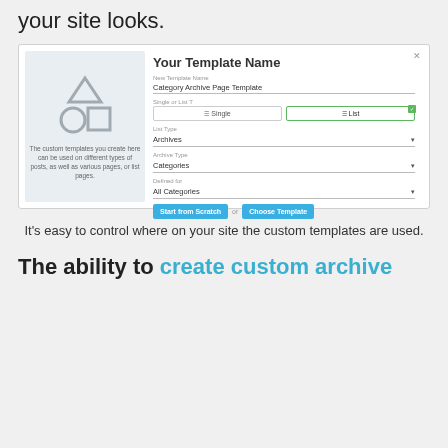your site looks.
[Figure (screenshot): A dialog box titled 'Your Template Name' with fields: New Template Name (filled with 'Category Archive Page Template'), Single or List T (List selected with green checkmark), List Type (Archives dropdown), Archive Type (Categories dropdown), Defined for (All Categories dropdown), and two action buttons: 'Start from Scratch' and 'Choose Template'. Left panel shows generic template icons and descriptive text.]
It's easy to control where on your site the custom templates are used.
The ability to create custom archive